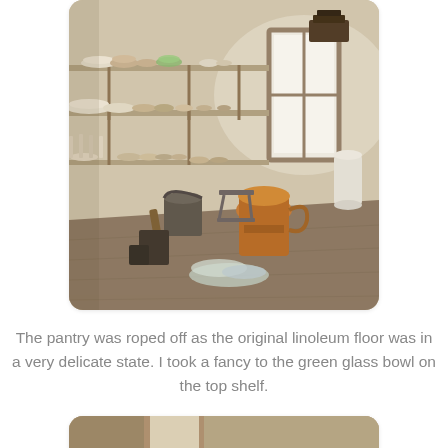[Figure (photo): Interior of an old pantry with shelves full of dishes, bowls, and pottery. On the floor are various kitchen items including a copper mixer, glass bowls, and metal containers. A bright window is visible in the background.]
The pantry was roped off as the original linoleum floor was in a very delicate state. I took a fancy to the green glass bowl on the top shelf.
[Figure (photo): Partial view of another photo showing what appears to be an interior scene, cropped at the bottom of the page.]